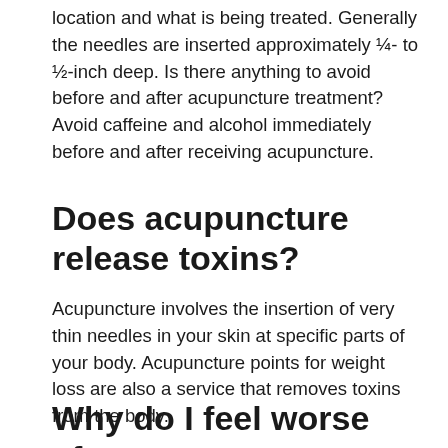location and what is being treated. Generally the needles are inserted approximately ¼- to ½-inch deep. Is there anything to avoid before and after acupuncture treatment? Avoid caffeine and alcohol immediately before and after receiving acupuncture.
Does acupuncture release toxins?
Acupuncture involves the insertion of very thin needles in your skin at specific parts of your body. Acupuncture points for weight loss are also a service that removes toxins from the body.
Why do I feel worse after